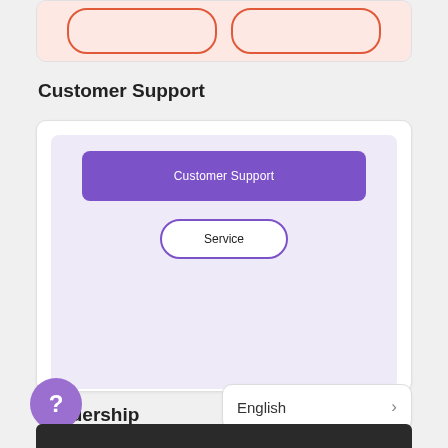[Figure (screenshot): Partial top card with pink background and two red-outlined rounded rectangle buttons]
Customer Support
[Figure (screenshot): Customer Support card with light purple background containing a purple filled bar labeled 'Customer Support' and a white outlined button labeled 'Service']
Leadership
[Figure (screenshot): Purple circular help button with question mark icon, English language dropdown selector with chevron, and partial dark bottom bar]